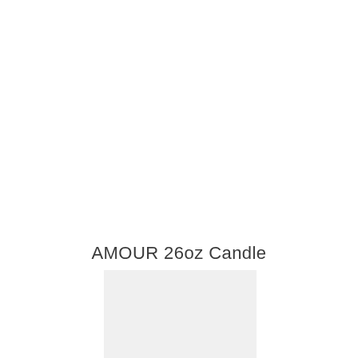AMOUR 26oz Candle
$ 92.00
[Figure (other): Light gray rectangular image placeholder at the bottom of the page]